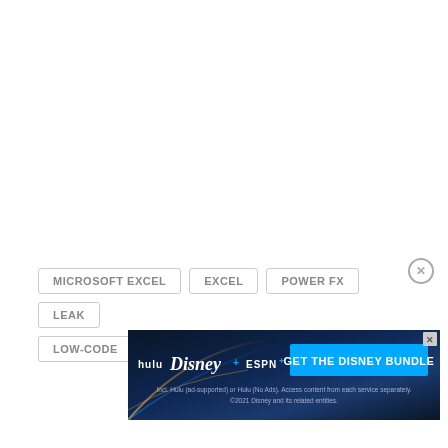MICROSOFT EXCEL
EXCEL
POWER FX
LEAK
LOW-CODE
POWER PLATFORM
DATAVERSE
[Figure (other): Disney Bundle advertisement banner with hulu, Disney+, ESPN+ logos and 'GET THE DISNEY BUNDLE' call-to-action button. Fine print: Incl. Hulu (ad-supported) or Hulu (No Ads). Access content from each service separately. ©2021 Disney and its related entities.]